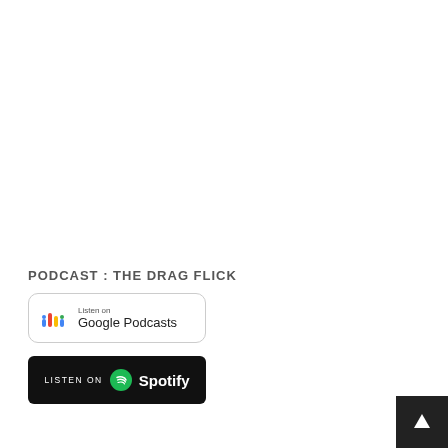PODCAST : THE DRAG FLICK
[Figure (logo): Listen on Google Podcasts badge with Google Podcasts colored bar chart icon]
[Figure (logo): Listen on Spotify badge, black background with Spotify logo]
[Figure (illustration): White upward arrow icon on dark background square in bottom-right corner]